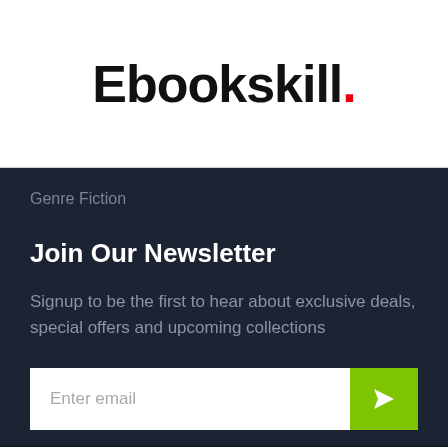Ebookskill.
Genre Fiction
Join Our Newsletter
Signup to be the first to hear about exclusive deals, special offers and upcoming collections